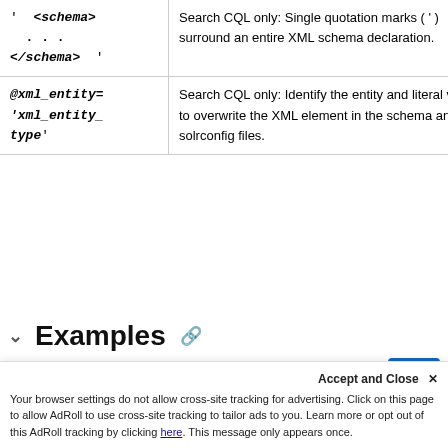| Syntax | Description |
| --- | --- |
| ' <schema> ... </schema> ' | Search CQL only: Single quotation marks ( ' ) surround an entire XML schema declaration. |
| @xml_entity='xml_entity_type' | Search CQL only: Identify the entity and literal value to overwrite the XML element in the schema and solrconfig files. |
Examples
To list all replication destinations...
Accept and Close ✕
Your browser settings do not allow cross-site tracking for advertising. Click on this page to allow AdRoll to use cross-site tracking to tailor ads to you. Learn more or opt out of this AdRoll tracking by clicking here. This message only appears once.